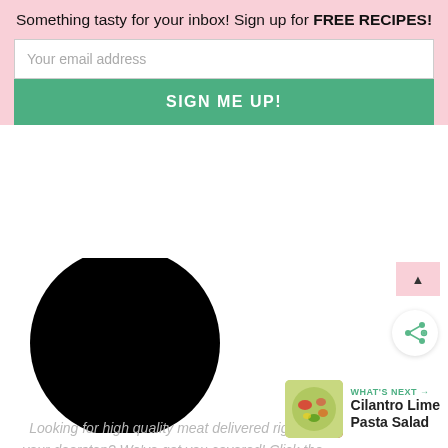Something tasty for your inbox! Sign up for FREE RECIPES!
Your email address
SIGN ME UP!
[Figure (illustration): Partial black circle logo visible at top of content area]
Looking for high quality meat delivered right to your doorstep? We've got you covered! Click the logo above to find out why I love using BUTCHER BOX!
[Figure (other): Share icon button (green share symbol)]
WHAT'S NEXT → Cilantro Lime Pasta Salad
[Figure (photo): Small thumbnail of Cilantro Lime Pasta Salad]